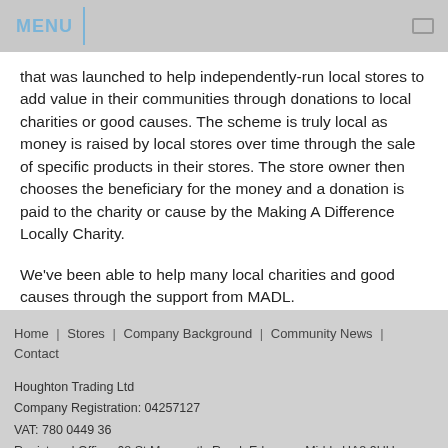MENU
that was launched to help independently-run local stores to add value in their communities through donations to local charities or good causes. The scheme is truly local as money is raised by local stores over time through the sale of specific products in their stores. The store owner then chooses the beneficiary for the money and a donation is paid to the charity or cause by the Making A Difference Locally Charity.
We've been able to help many local charities and good causes through the support from MADL.
Home | Stores | Company Background | Community News | Contact
Houghton Trading Ltd
Company Registration: 04257127
VAT: 780 0449 36
Registered Office: 68 St Margaret's Road, Edgware, Middx HA8 9UU
© Copyright 2015 Houghton Trading Ltd
Web Site Design